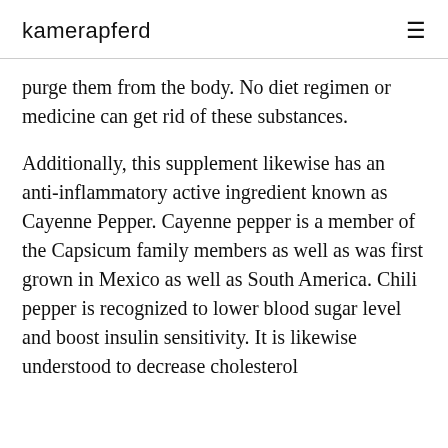kamerapferd
purge them from the body. No diet regimen or medicine can get rid of these substances.
Additionally, this supplement likewise has an anti-inflammatory active ingredient known as Cayenne Pepper. Cayenne pepper is a member of the Capsicum family members as well as was first grown in Mexico as well as South America. Chili pepper is recognized to lower blood sugar level and boost insulin sensitivity. It is likewise understood to decrease cholesterol